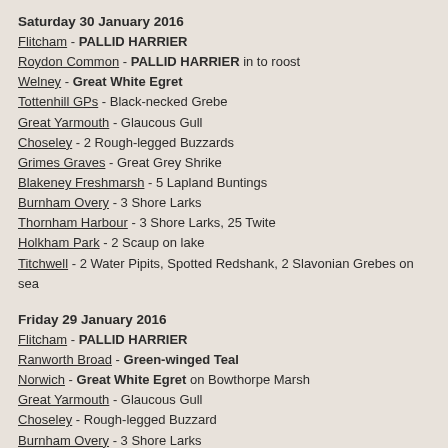Saturday 30 January 2016
Flitcham - PALLID HARRIER
Roydon Common - PALLID HARRIER in to roost
Welney - Great White Egret
Tottenhill GPs - Black-necked Grebe
Great Yarmouth - Glaucous Gull
Choseley - 2 Rough-legged Buzzards
Grimes Graves - Great Grey Shrike
Blakeney Freshmarsh - 5 Lapland Buntings
Burnham Overy - 3 Shore Larks
Thornham Harbour - 3 Shore Larks, 25 Twite
Holkham Park - 2 Scaup on lake
Titchwell - 2 Water Pipits, Spotted Redshank, 2 Slavonian Grebes on sea
Friday 29 January 2016
Flitcham - PALLID HARRIER
Ranworth Broad - Green-winged Teal
Norwich - Great White Egret on Bowthorpe Marsh
Great Yarmouth - Glaucous Gull
Choseley - Rough-legged Buzzard
Burnham Overy - 3 Shore Larks
Titchwell - Water Pipit, Velvet Scoter on sea
Thursday 28 January 2016
Flitcham - PALLID HARRIER
Breydon Water - LESSER YELLOWLEGS